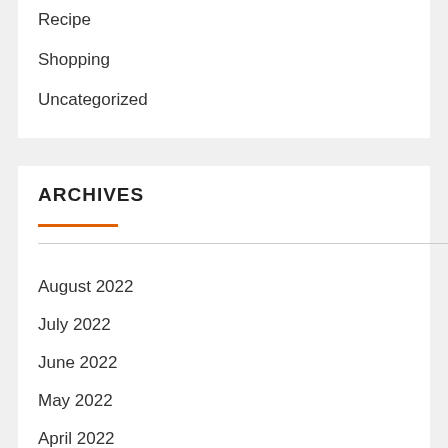Recipe
Shopping
Uncategorized
ARCHIVES
August 2022
July 2022
June 2022
May 2022
April 2022
March 2022